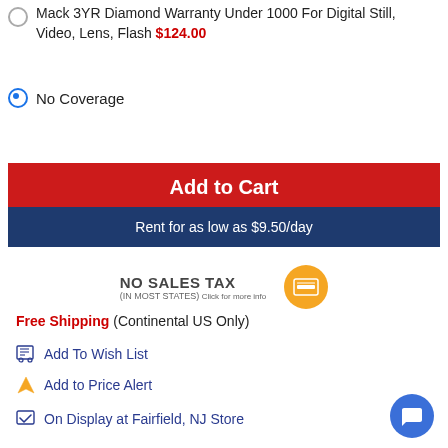Mack 3YR Diamond Warranty Under 1000 For Digital Still, Video, Lens, Flash $124.00
No Coverage
Add to Cart
Rent for as low as $9.50/day
NO SALES TAX (IN MOST STATES) Click for more info
Free Shipping (Continental US Only)
Add To Wish List
Add to Price Alert
On Display at Fairfield, NJ Store